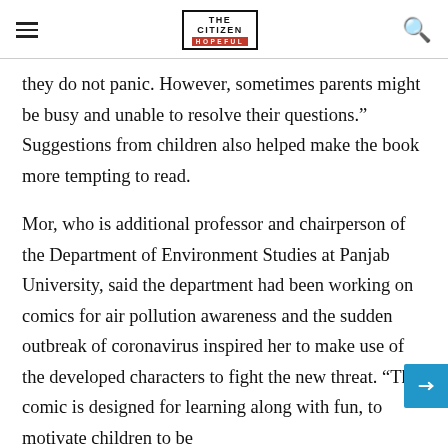THE CITIZEN IS HOPEFUL
they do not panic. However, sometimes parents might be busy and unable to resolve their questions.” Suggestions from children also helped make the book more tempting to read.
Mor, who is additional professor and chairperson of the Department of Environment Studies at Panjab University, said the department had been working on comics for air pollution awareness and the sudden outbreak of coronavirus inspired her to make use of the developed characters to fight the new threat. “The comic is designed for learning along with fun, to motivate children to be